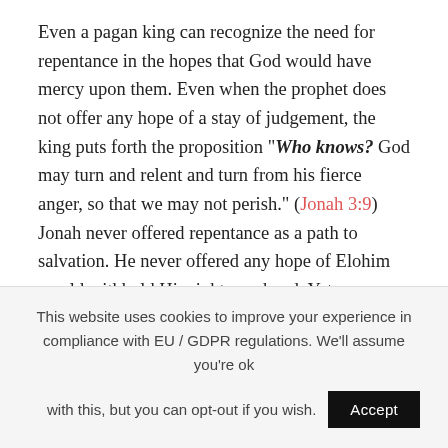Even a pagan king can recognize the need for repentance in the hopes that God would have mercy upon them. Even when the prophet does not offer any hope of a stay of judgement, the king puts forth the proposition "Who knows? God may turn and relent and turn from his fierce anger, so that we may not perish." (Jonah 3:9) Jonah never offered repentance as a path to salvation. He never offered any hope of Elohim would withhold His righteous hand. Yet somehow, the king of Nineveh (speaking from a
This website uses cookies to improve your experience in compliance with EU / GDPR regulations. We'll assume you're ok with this, but you can opt-out if you wish. Accept